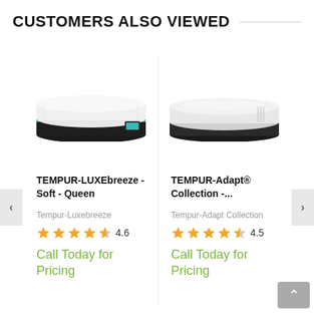CUSTOMERS ALSO VIEWED
[Figure (photo): TEMPUR-LUXEbreeze Soft Queen mattress product photo - white top with dark base and teal accent]
TEMPUR-LUXEbreeze - Soft - Queen
Tempur-Luxebreeze
4.6
Call Today for Pricing
[Figure (photo): TEMPUR-Adapt Collection mattress product photo - white top with dark gray base]
TEMPUR-Adapt® Collection -...
Tempur-Adapt Collection
4.5
Call Today for Pricing